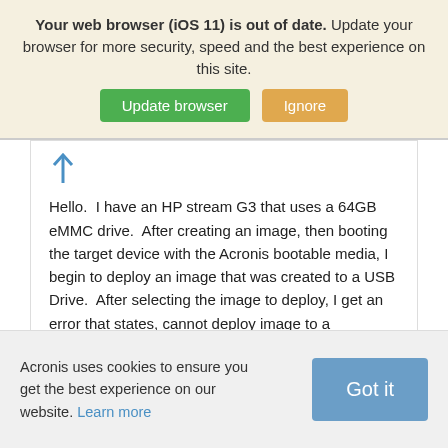Your web browser (iOS 11) is out of date. Update your browser for more security, speed and the best experience on this site.
[Figure (screenshot): Two buttons: green 'Update browser' and tan/gold 'Ignore']
[Figure (infographic): Blue upward arrow icon]
Hello. I have an HP stream G3 that uses a 64GB eMMC drive. After creating an image, then booting the target device with the Acronis bootable media, I begin to deploy an image that was created to a USB Drive. After selecting the image to deploy, I get an error that states, cannot deploy image to a
Acronis uses cookies to ensure you get the best experience on our website. Learn more